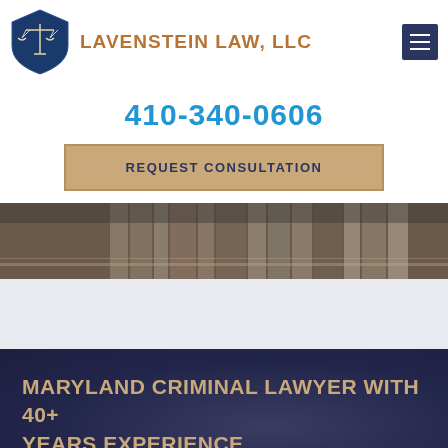[Figure (logo): Lavenstein Law, LLC logo with blue shield and scales of justice icon, with firm name in gold/bronze uppercase letters]
410-340-0606
REQUEST CONSULTATION
[Figure (photo): Close-up photo of law books or decorative legal items on a wooden surface, blurred background]
MARYLAND CRIMINAL LAWYER WITH 40+ YEARS EXPERIENCE